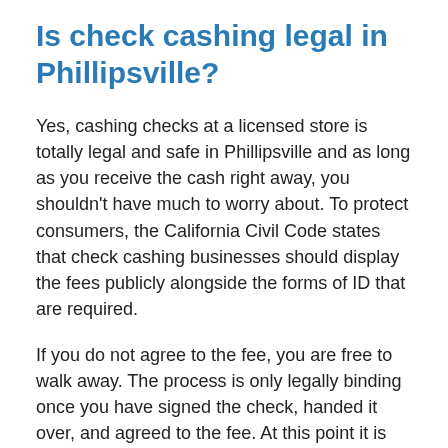Is check cashing legal in Phillipsville?
Yes, cashing checks at a licensed store is totally legal and safe in Phillipsville and as long as you receive the cash right away, you shouldn't have much to worry about. To protect consumers, the California Civil Code states that check cashing businesses should display the fees publicly alongside the forms of ID that are required.
If you do not agree to the fee, you are free to walk away. The process is only legally binding once you have signed the check, handed it over, and agreed to the fee. At this point it is unlikely for a check to be reversed simply because the